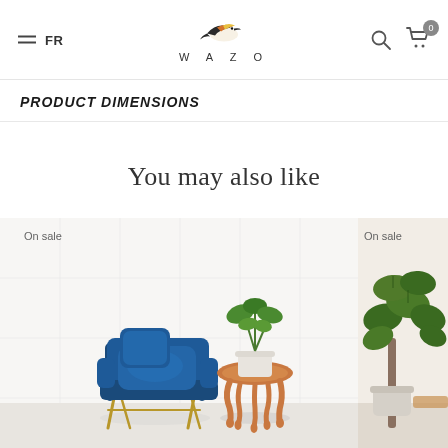FR | WAZO | Search | Cart (0)
PRODUCT DIMENSIONS
You may also like
[Figure (photo): Blue velvet accent chair with gold metal legs and blue cushion, styled next to a copper drip side table with a white potted plant. 'On sale' label in top-left corner.]
[Figure (photo): Partial view of another product photo on the right side showing a fiddle-leaf fig plant in a grey pot. 'On sale' label visible.]